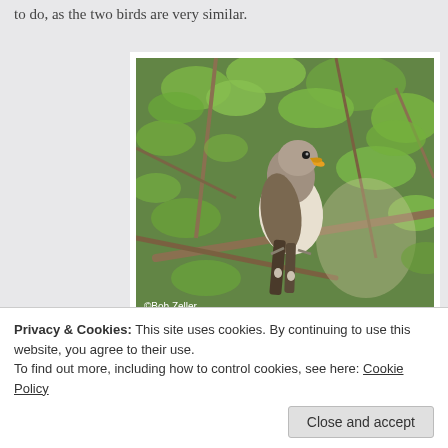to do, as the two birds are very similar.
[Figure (photo): Yellow-billed Cuckoo bird perched on a branch surrounded by green leaves. Photo credit: ©Bob Zeller]
Yellow-billed Cuckoo - 2 votes
Privacy & Cookies: This site uses cookies. By continuing to use this website, you agree to their use.
To find out more, including how to control cookies, see here: Cookie Policy
Close and accept